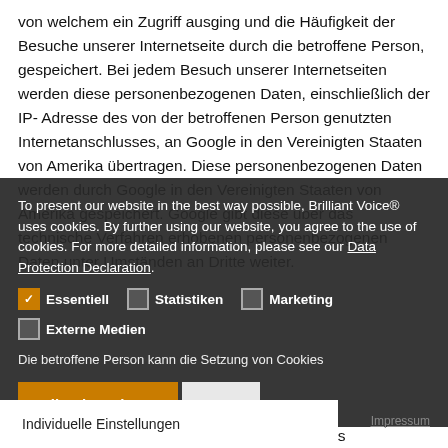von welchem ein Zugriff ausging und die Häufigkeit der Besuche unserer Internetseite durch die betroffene Person, gespeichert. Bei jedem Besuch unserer Internetseiten werden diese personenbezogenen Daten, einschließlich der IP-Adresse des von der betroffenen Person genutzten Internetanschlusses, an Google in den Vereinigten Staaten von Amerika übertragen. Diese personenbezogenen Daten werden durch Google in den Vereinigten Staaten von Amerika gespeichert. Google gibt diese über das technische Verfahren erhobenen personenbezogenen Daten unter Umständen an Dritte weiter.
To present our website in the best way possible, Brilliant Voice® uses cookies. By further using our website, you agree to the use of cookies. For more detailed information, please see our Data Protection Declaration.
✓ Essentiell   □ Statistiken   □ Marketing
□ Externe Medien
Die betroffene Person kann die Setzung von Cookies
Alle Akzeptieren   Save
Individuelle Einstellungen
vermindern und damit der Setzung von Cookies
Impressum